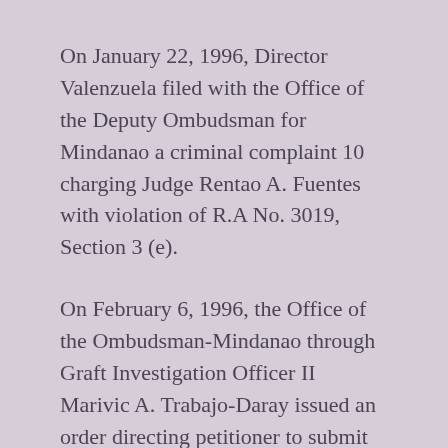On January 22, 1996, Director Valenzuela filed with the Office of the Deputy Ombudsman for Mindanao a criminal complaint 10 charging Judge Rentao A. Fuentes with violation of R.A No. 3019, Section 3 (e).
On February 6, 1996, the Office of the Ombudsman-Mindanao through Graft Investigation Officer II Marivic A. Trabajo-Daray issued an order directing petitioner to submit his counter-affidavit within ten days.